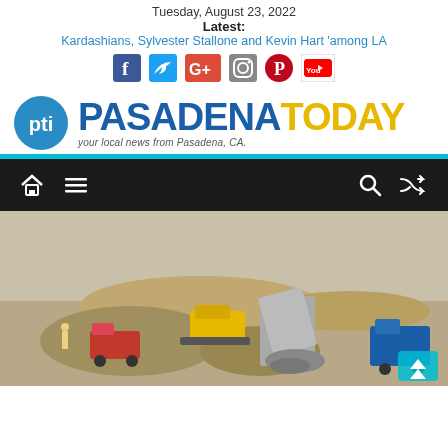Tuesday, August 23, 2022
Latest:
Kardashians, Sylvester Stallone and Kevin Hart 'among LA
[Figure (logo): Pasadena Today logo with blue circle PTi emblem and PASADENA in blue and TODAY in gold, tagline: your local news from Pasadena, CA.]
[Figure (screenshot): Dark navigation bar with home icon, hamburger menu icon on left and search icon and shuffle icon on right]
[Figure (photo): Construction site with dump trucks, a yellow bulldozer/loader, and piles of dirt/rubble being unloaded in a dry desert landscape]